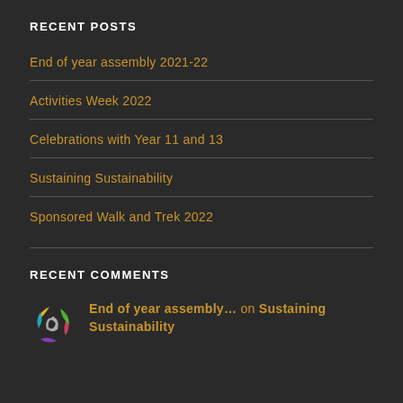RECENT POSTS
End of year assembly 2021-22
Activities Week 2022
Celebrations with Year 11 and 13
Sustaining Sustainability
Sponsored Walk and Trek 2022
RECENT COMMENTS
End of year assembly… on Sustaining Sustainability